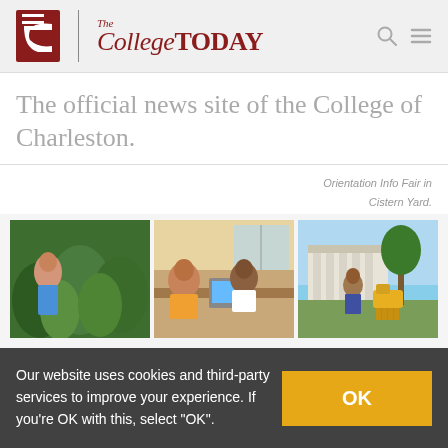[Figure (logo): The College Today logo with red C letter mark and serif wordmark]
The official news site of the College of Charleston.
Orientation Info Fair in Cistern Yard.
[Figure (photo): Three side-by-side photos: student in garden, students studying at table with laptops, robot dog on campus near historic building]
Our website uses cookies and third-party services to improve your experience. If you're OK with this, select "OK".